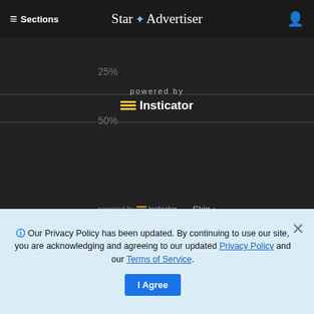≡ Sections  Star Advertiser
[Figure (screenshot): Dark themed Insticator poll/content widget showing 25% and 50% progress indicators, 'powered by Insticator' branding, and a Skip button]
[Figure (screenshot): Hot pink Insticator advertisement: 'Highly viewable, lightweight video tailored to your site' with INSTICATOR branding and a blue device mockup]
Our Privacy Policy has been updated. By continuing to use our site, you are acknowledging and agreeing to our updated Privacy Policy and our Terms of Service.